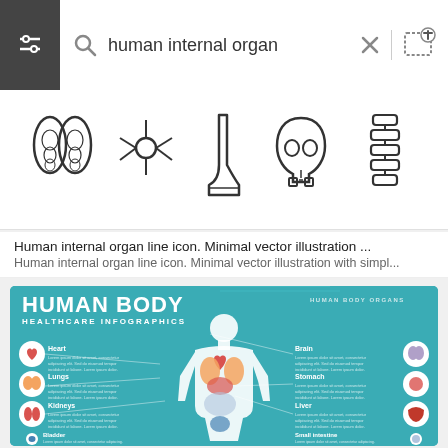[Figure (screenshot): Mobile search interface showing search bar with query 'human internal organ', a row of five anatomical line icons (thyroid, nerve cell, ankle/foot, skull, spine), a text search result snippet, and a partial thumbnail of a Human Body Healthcare Infographics image showing labeled organs.]
human internal organ
Human internal organ line icon. Minimal vector illustration ...
Human internal organ line icon. Minimal vector illustration with simpl...
[Figure (infographic): Human Body Healthcare Infographics showing a human body silhouette with labeled internal organs: Heart, Lungs, Kidneys, Bladder on the left; Brain, Stomach, Liver, Small intestine on the right. Each organ has an icon in a white circle and placeholder Lorem Ipsum text descriptions. Title reads 'HUMAN BODY HEALTHCARE INFOGRAPHICS' with 'HUMAN BODY ORGANS' in top right.]